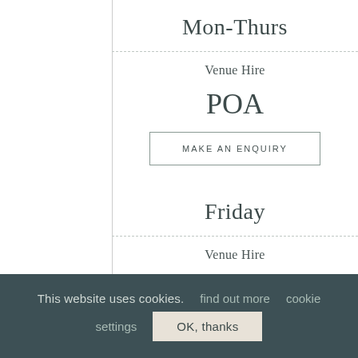Mon-Thurs
Venue Hire
POA
MAKE AN ENQUIRY
Friday
Venue Hire
This website uses cookies. find out more cookie settings OK, thanks